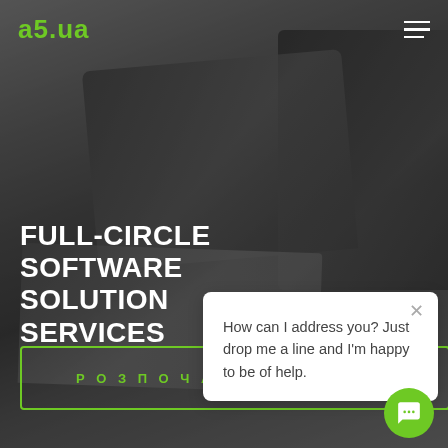as.ua
[Figure (photo): Black and white background photo showing laptops and a person's hands on a desk, office technology setting]
FULL-CIRCLE SOFTWARE SOLUTION SERVICES
How can I address you? Just drop me a line and I'm happy to be of help.
РОЗПОЧАТИ РОБОТУ